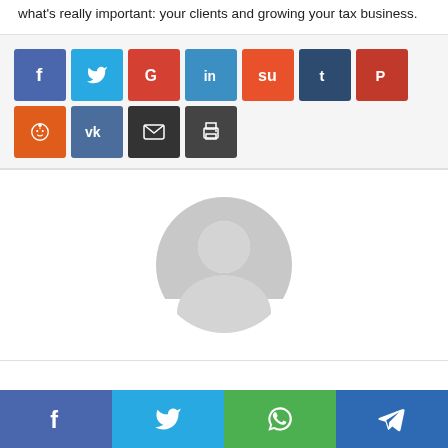What's really important: your clients and growing your tax business.
[Figure (infographic): Row of social share buttons: Facebook (blue), Twitter (light blue), Google (red), LinkedIn (teal), StumbleUpon (orange), Tumblr (dark navy), Pinterest (red), Reddit (orange-red), VK (slate blue), Email (dark gray), Print (dark gray)]
[Figure (illustration): Generic gray user/avatar placeholder icon — a circular silhouette of a person (head and shoulders) in light gray on white background]
[Figure (infographic): Bottom share bar with four colored buttons: Facebook (blue), Twitter (light blue), WhatsApp (green), Telegram (dark blue), each with a white icon]